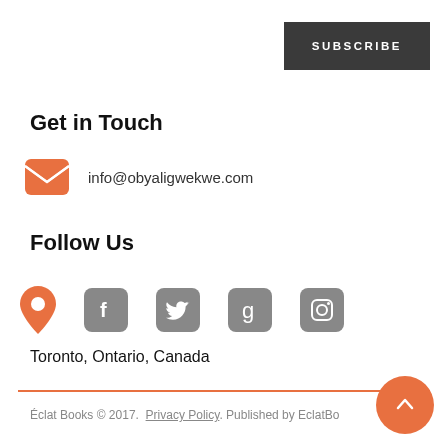SUBSCRIBE
Get in Touch
info@obyaligwekwe.com
Follow Us
[Figure (infographic): Social media icons row: location pin (orange), Facebook, Twitter, Goodreads, Instagram (grey rounded squares)]
Toronto, Ontario, Canada
Éclat Books © 2017. Privacy Policy. Published by EclatBo...